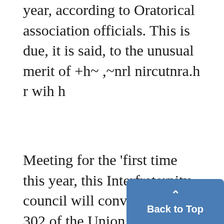year, according to Oratorical association officials. This is due, it is said, to the unusual merit of +h~ ,~nrl nircutnra.h r wih h
Meeting for the 'first time this year, this Interfraternity council will convene in room 302 of the Union at 4:15 o'clock Tuesday afternoon for the purpose of electing officers. Dean Joseph A. Bursley will act as chairman o f the meeting, and urges that all fraternit send a representative to this m